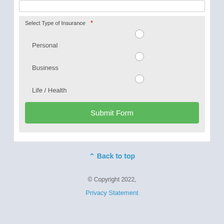Select Type of Insurance *
Personal
Business
Life / Health
Submit Form
^ Back to top
© Copyright 2022,
Privacy Statement